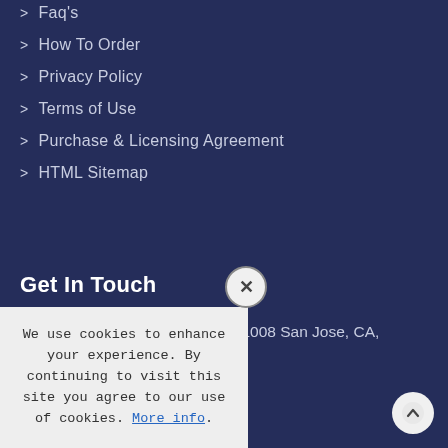> Faq's
> How To Order
> Privacy Policy
> Terms of Use
> Purchase & Licensing Agreement
> HTML Sitemap
Get In Touch
410 E Santa Clara Street, Unit #1008 San Jose, CA, 95113, United States
Phone: +1-408-610-2300
We use cookies to enhance your experience. By continuing to visit this site you agree to our use of cookies. More info.